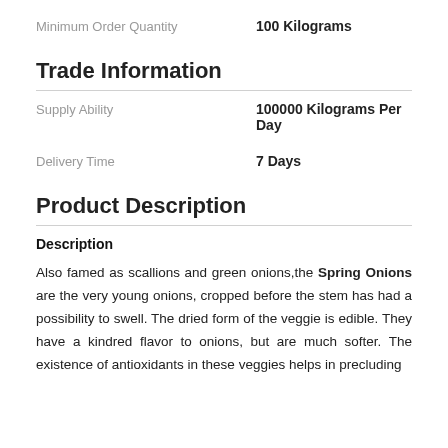Minimum Order Quantity: 100 Kilograms
Trade Information
Supply Ability: 100000 Kilograms Per Day
Delivery Time: 7 Days
Product Description
Description
Also famed as scallions and green onions,the Spring Onions are the very young onions, cropped before the stem has had a possibility to swell. The dried form of the veggie is edible. They have a kindred flavor to onions, but are much softer. The existence of antioxidants in these veggies helps in precluding